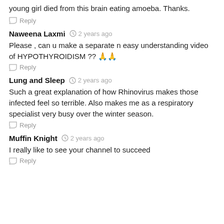young girl died from this brain eating amoeba. Thanks.
Reply
Naweena Laxmi  ⏱ 2 years ago
Please , can u make a separate n easy understanding video of HYPOTHYROIDISM ?? 🙏🙏
Reply
Lung and Sleep  ⏱ 2 years ago
Such a great explanation of how Rhinovirus makes those infected feel so terrible. Also makes me as a respiratory specialist very busy over the winter season.
Reply
Muffin Knight  ⏱ 2 years ago
I really like to see your channel to succeed
Reply